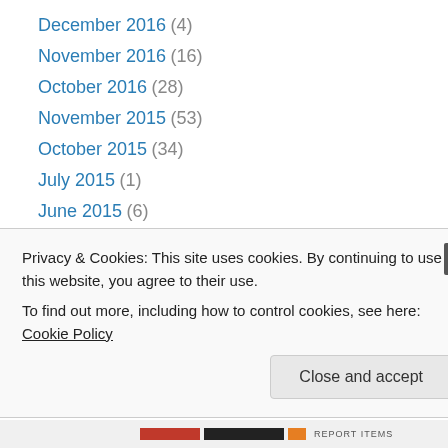December 2016 (4)
November 2016 (16)
October 2016 (28)
November 2015 (53)
October 2015 (34)
July 2015 (1)
June 2015 (6)
May 2015 (13)
April 2015 (17)
December 2014 (15)
November 2014 (41)
October 2014 (60)
May 2014 (22)
Privacy & Cookies: This site uses cookies. By continuing to use this website, you agree to their use. To find out more, including how to control cookies, see here: Cookie Policy
Close and accept